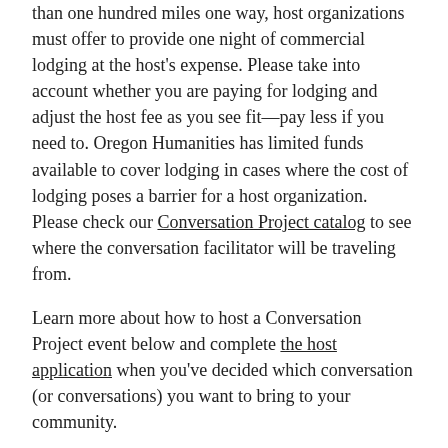than one hundred miles one way, host organizations must offer to provide one night of commercial lodging at the host's expense. Please take into account whether you are paying for lodging and adjust the host fee as you see fit—pay less if you need to. Oregon Humanities has limited funds available to cover lodging in cases where the cost of lodging poses a barrier for a host organization. Please check our Conversation Project catalog to see where the conversation facilitator will be traveling from.
Learn more about how to host a Conversation Project event below and complete the host application when you've decided which conversation (or conversations) you want to bring to your community.
Questions? Contact Jennifer Alkezweeny, program director, at jennifer@oregonhumanities.org.